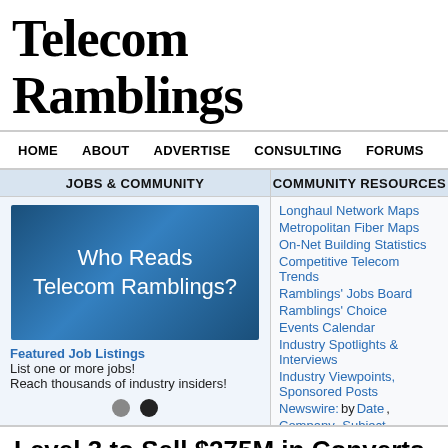Telecom Ramblings
HOME  ABOUT  ADVERTISE  CONSULTING  FORUMS  JOBS  CO...
JOBS & COMMUNITY
[Figure (other): Ad box with blue gradient background reading 'Who Reads Telecom Ramblings?']
Featured Job Listings
List one or more jobs!
Reach thousands of industry insiders!
COMMUNITY RESOURCES
Longhaul Network Maps
Metropolitan Fiber Maps
On-Net Building Statistics
Competitive Telecom Trends
Ramblings' Jobs Board
Ramblings' Choice
Events Calendar
Industry Spotlights & Interviews
Industry Viewpoints, Sponsored Posts
Newswire: by Date, Company, Subject
Level 3 to Sell $275M in Converts
October 1st, 2009 by Rob Powell · 9 Comments
For a while there it seemed like everyone was accessing the credit markets excep...